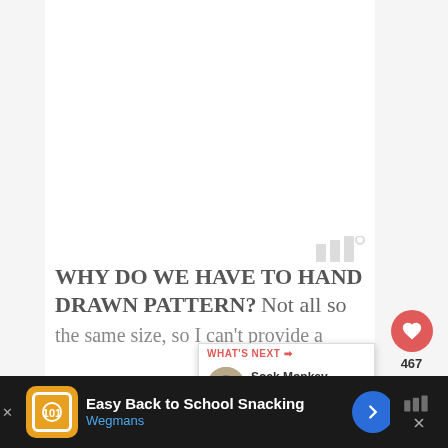[Figure (screenshot): White blank content area representing an image placeholder in a web article page]
[Figure (other): Watermark logo in gray: three vertical bars with a degree symbol]
467
WHY DO WE HAVE TO HAND DRAWN PATTERN? Not all so the same size, so I can't provide a
[Figure (screenshot): WHAT'S NEXT popup with thumbnail image and text: Sock Monkey Stuffed Ani...]
[Figure (screenshot): Ad banner: Easy Back to School Snacking - Wegmans, with orange logo and navigation arrow. Dark background ad bar at bottom of page.]